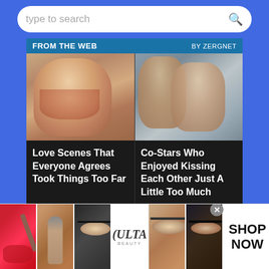[Figure (screenshot): Search bar with 'type to search' placeholder text and magnifying glass icon on blue background]
FROM THE WEB
BY ZERGNET
[Figure (photo): Thumbnail of a woman with curly blonde hair and heavy makeup (movie still)]
[Figure (photo): Thumbnail of two people kissing closely]
Love Scenes That Everyone Agrees Took Things Too Far
Co-Stars Who Enjoyed Kissing Each Other Just A Little Too Much
Miracle Shield Volcanoes
[Figure (photo): Ulta Beauty advertisement strip with makeup product images and SHOP NOW button]